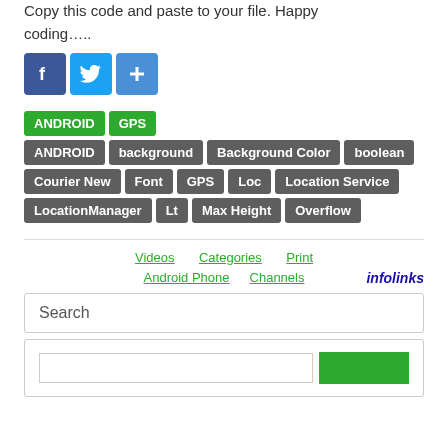Copy this code and paste to your file. Happy coding…..
[Figure (infographic): Social share icons: Facebook (blue), Twitter (light blue), Plus/Share (blue)]
ANDROID
GPS
ANDROID
background
Background Color
boolean
Courier New
Font
GPS
Loc
Location Service
LocationManager
Lt
Max Height
Overflow
Videos   Categories   Print   Android Phone   Channels   infolinks
Search